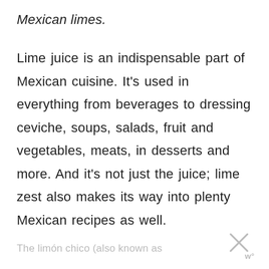Mexican limes.
Lime juice is an indispensable part of Mexican cuisine. It's used in everything from beverages to dressing ceviche, soups, salads, fruit and vegetables, meats, in desserts and more. And it's not just the juice; lime zest also makes its way into plenty Mexican recipes as well.
The limón chico (also known as